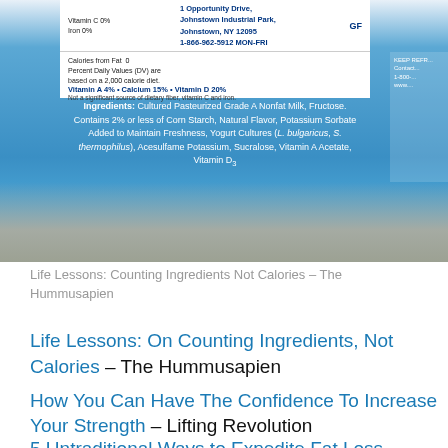[Figure (photo): Close-up photo of a blue yogurt container being held, showing the nutrition label top with address 1 Opportunity Drive, Johnstown Industrial Park, Johnstown, NY 12095, 1-866-962-5912 MON-FRI, and GF symbol. Below shows Vitamin A 4%, Calcium 15%, Vitamin D 20%. Ingredients: Cultured Pasteurized Grade A Nonfat Milk, Fructose. Contains 2% or less of Corn Starch, Natural Flavor, Potassium Sorbate Added to Maintain Freshness, Yogurt Cultures (L. bulgaricus, S. thermophilus), Acesulfame Potassium, Sucralose, Vitamin A Acetate, Vitamin D.]
Life Lessons: Counting Ingredients Not Calories – The Hummusapien
Life Lessons: On Counting Ingredients, Not Calories – The Hummusapien
How You Can Have The Confidence To Increase Your Strength – Lifting Revolution
5 Untraditional Ways to Expedite Fat Loss – Trainer Paige